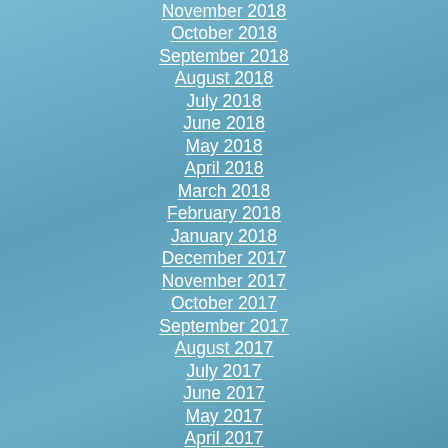November 2018
October 2018
September 2018
August 2018
July 2018
June 2018
May 2018
April 2018
March 2018
February 2018
January 2018
December 2017
November 2017
October 2017
September 2017
August 2017
July 2017
June 2017
May 2017
April 2017
March 2017